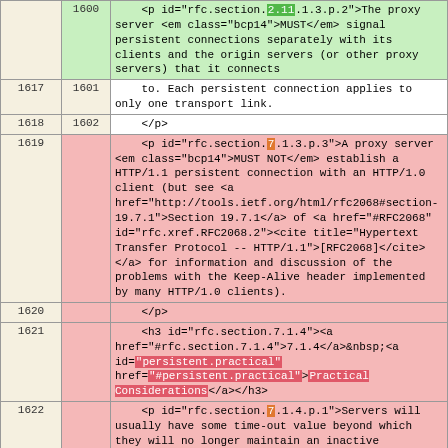|  |  | content |
| --- | --- | --- |
|  | 1600 | <p id="rfc.section.2.11.1.3.p.2">The proxy server <em class="bcp14">MUST</em> signal persistent connections separately with its clients and the origin servers (or other proxy servers) that it connects |
| 1617 | 1601 | to. Each persistent connection applies to only one transport link. |
| 1618 | 1602 | </p> |
| 1619 |  | <p id="rfc.section.7.1.3.p.3">A proxy server <em class="bcp14">MUST NOT</em> establish a HTTP/1.1 persistent connection with an HTTP/1.0 client (but see <a href="http://tools.ietf.org/html/rfc2068#section-19.7.1">Section 19.7.1</a> of <a href="#RFC2068" id="rfc.xref.RFC2068.2"><cite title="Hypertext Transfer Protocol -- HTTP/1.1">[RFC2068]</cite></a> for information and discussion of the problems with the Keep-Alive header implemented by many HTTP/1.0 clients). |
| 1620 |  | </p> |
| 1621 |  | <h3 id="rfc.section.7.1.4"><a href="#rfc.section.7.1.4">7.1.4</a>&nbsp;<a id="persistent.practical" href="#persistent.practical">Practical Considerations</a></h3> |
| 1622 |  | <p id="rfc.section.7.1.4.p.1">Servers will usually have some time-out value beyond which they will no longer maintain an inactive connection. Proxy servers |
|  | 1603 | <p id="rfc.section.2.11.1.3.p.3">A proxy server <em class="bcp14">MUST NOT</em> establish a HTTP/1.1 persistent connection with an HTTP/1.0 client (but see <a href="http://tools.ietf.org/html/rfc2068#section-19.7.1">Section 19.7.1</a> of <a href="#RFC2068" id="rfc.xref.RFC2068.2"><cite title="Hypertext Transfer Protocol -- HTTP/1.1">[RFC2068]</cite></a> |